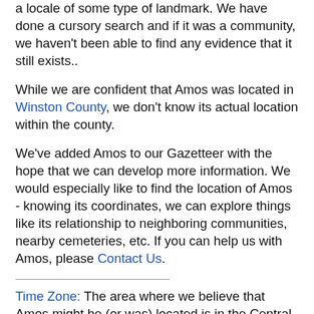a locale of some type of landmark. We have done a cursory search and if it was a community, we haven't been able to find any evidence that it still exists..
While we are confident that Amos was located in Winston County, we don't know its actual location within the county.
We've added Amos to our Gazetteer with the hope that we can develop more information. We would especially like to find the location of Amos - knowing its coordinates, we can explore things like its relationship to neighboring communities, nearby cemeteries, etc. If you can help us with Amos, please Contact Us.
Time Zone: The area where we believe that Amos might be (or was) located is in the Central Time Zone (CST/CDT) and observes daylight saving time
Communities Also Named Amos ...
Using our Gazetteer, we have found that there